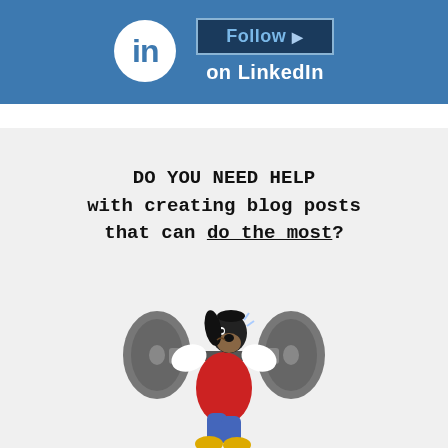[Figure (screenshot): LinkedIn Follow banner with LinkedIn 'in' logo circle on left and a 'Follow' button with cursor icon and 'on LinkedIn' text on right, blue background]
DO YOU NEED HELP with creating blog posts that can do the most?
[Figure (illustration): Cartoon illustration of Goofy (Disney character) struggling to lift a heavy barbell with large weight plates on each side, wearing a red vest]